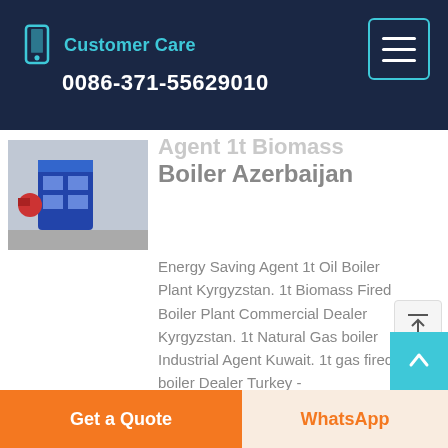Customer Care
0086-371-55629010
Agent 1t Biomass Boiler Azerbaijan
[Figure (photo): Industrial biomass boiler unit in a blue cabinet, displayed in a warehouse/factory setting]
Energy Saving Agent 1t Oil Boiler Plant Kyrgyzstan. 1t Biomass Fired Boiler Plant Commercial Dealer Kyrgyzstan. 1t Natural Gas boiler Industrial Agent Kuwait. 1t gas fired boiler Dealer Turkey - seahousesholidays.co.uk. Sitong boiler designed a wide range of industrial boilers that could be used for food industry for example: WNS